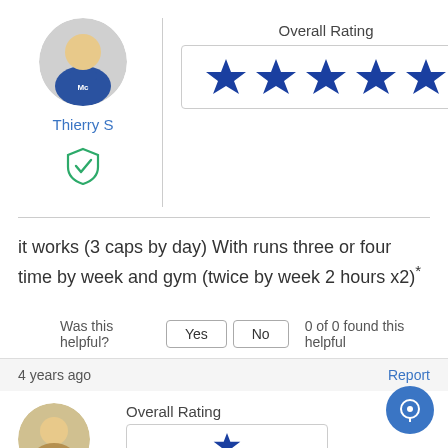[Figure (illustration): Circular avatar of a person wearing a blue sports jersey with 'Mc' logo]
Thierry S
[Figure (illustration): Green shield with checkmark icon indicating verified user]
[Figure (infographic): Overall Rating box with 5 filled blue stars]
it works (3 caps by day) With runs three or four time by week and gym (twice by week 2 hours x2)*
Was this helpful? Yes No 0 of 0 found this helpful
4 years ago
Report
Overall Rating